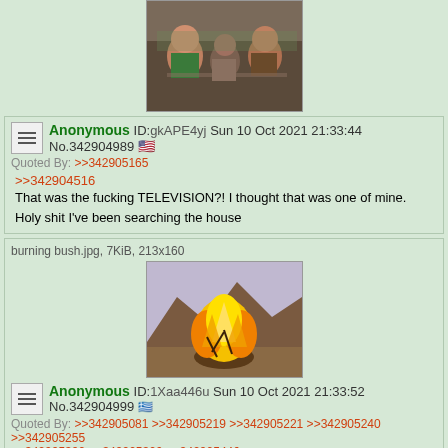[Figure (photo): Screenshot of a forum image showing muppet-like characters sitting at a table]
Anonymous ID:gkAPE4yj Sun 10 Oct 2021 21:33:44 No.342904989 [US flag]
Quoted By: >>342905165
>>342904516
That was the fucking TELEVISION?! I thought that was one of mine. Holy shit I've been searching the house
burning bush.jpg, 7KiB, 213x160
[Figure (photo): Painting or illustration of a burning bush in a rocky landscape]
Anonymous ID:1Xaa446u Sun 10 Oct 2021 21:33:52 No.342904999 [flag]
Quoted By: >>342905081 >>342905219 >>342905221 >>342905240 >>342905255 >>342905300 >>342905306 >>342905446
>>342904590
You rang? If you have any reservations for Christmas you might want